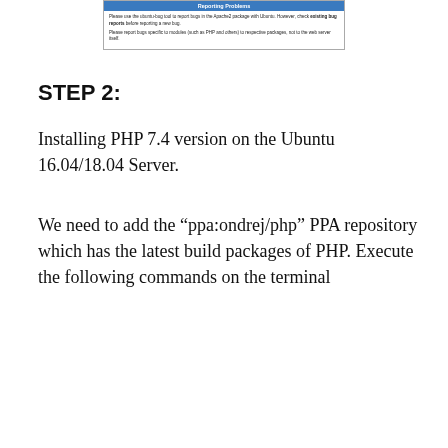[Figure (screenshot): Screenshot of a web page section titled 'Reporting Problems' with text about using ubuntu-bug tool to report bugs in Apache2 package with Ubuntu, checking existing bug reports before reporting a new bug, and reporting bugs specific to modules to respective packages.]
STEP 2:
Installing PHP 7.4 version on the Ubuntu 16.04/18.04 Server.
We need to add the “ppa:ondrej/php” PPA repository which has the latest build packages of PHP. Execute the following commands on the terminal